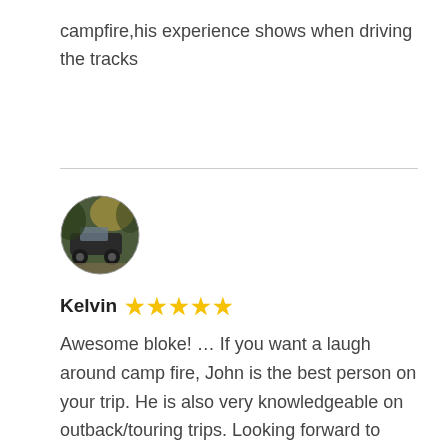campfire,his experience shows when driving the tracks
[Figure (photo): Circular avatar photo showing a vehicle in an outdoor/bush setting]
Kelvin ★★★★★
Awesome bloke! … If you want a laugh around camp fire, John is the best person on your trip. He is also very knowledgeable on outback/touring trips. Looking forward to going on another trip with you mate.